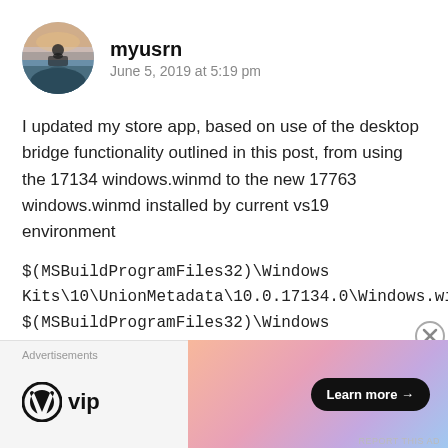[Figure (photo): Circular avatar of a person sitting on a mountain top at sunset]
myusrn
June 5, 2019 at 5:19 pm
I updated my store app, based on use of the desktop bridge functionality outlined in this post, from using the 17134 windows.winmd to the new 17763 windows.winmd installed by current vs19 environment
$(MSBuildProgramFiles32)\Windows Kits\10\UnionMetadata\10.0.17134.0\Windows.winmd
$(MSBuildProgramFiles32)\Windows Kits\10\UnionMetadata\10.0.17763.0\Windows.winmd
Now i'm finding that the “Windows App Certification Kit
Advertisements
[Figure (logo): WordPress VIP logo]
[Figure (infographic): Advertisement banner with gradient colors and 'Learn more' button]